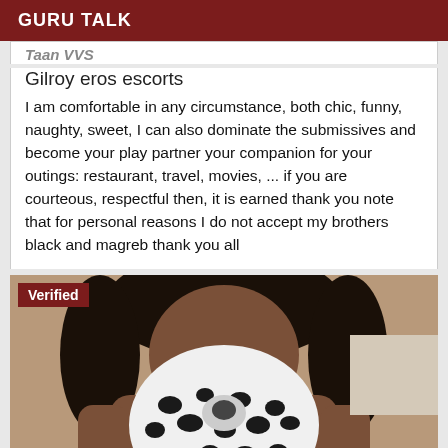GURU TALK
Taan VVS
Gilroy eros escorts
I am comfortable in any circumstance, both chic, funny, naughty, sweet, I can also dominate the submissives and become your play partner your companion for your outings: restaurant, travel, movies, ... if you are courteous, respectful then, it is earned thank you note that for personal reasons I do not accept my brothers black and magreb thank you all
[Figure (photo): Woman wearing black and white leopard print halter top dress, verified escort listing photo]
Verified